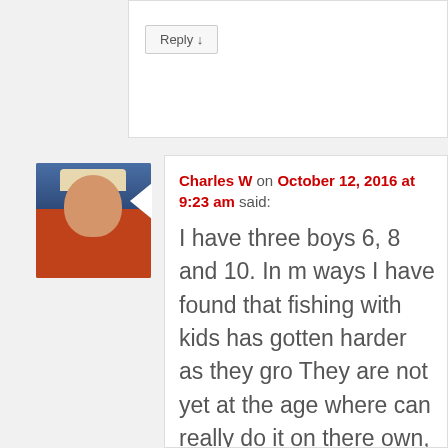Reply ↓
[Figure (photo): Avatar photo of Charles W, a person wearing a hat and orange jacket]
Charles W on October 12, 2016 at 9:23 am said:
I have three boys 6, 8 and 10. In many ways I have found that fishing with kids has gotten harder as they grow. They are not yet at the age where they can really do it on there own, so I have to help each of them with every step of the process. Most of the time we end up going trolling in the boat because it is more controlled. I love to take them fishing but this can be...